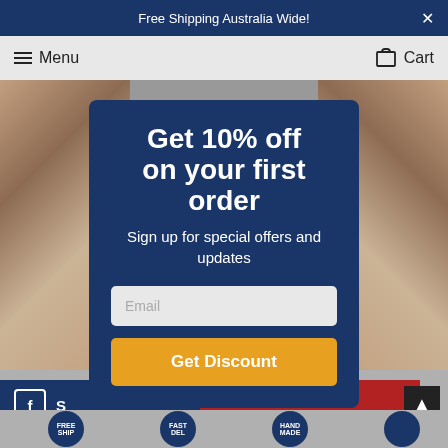Free Shipping Australia Wide!
Menu   Cart
[Figure (screenshot): E-commerce popup modal on a rug shopping website. Dark navy blue modal overlay with headline 'Get 10% off on your first order', subtitle 'Sign up for special offers and updates', an email input field, and a gold 'Get Discount' button. Background shows rug product images with grey overlay.]
Get 10% off on your first order
Sign up for special offers and updates
Email
Get Discount